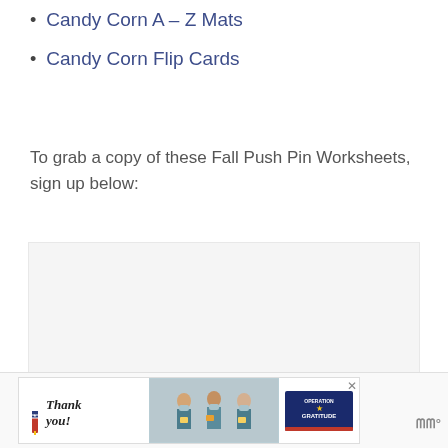Candy Corn A – Z Mats
Candy Corn Flip Cards
To grab a copy of these Fall Push Pin Worksheets, sign up below:
[Figure (other): Email sign-up form embed box (light gray placeholder)]
[Figure (other): Advertisement banner: 'Thank you!' with Operation Gratitude logo and nurses photo]